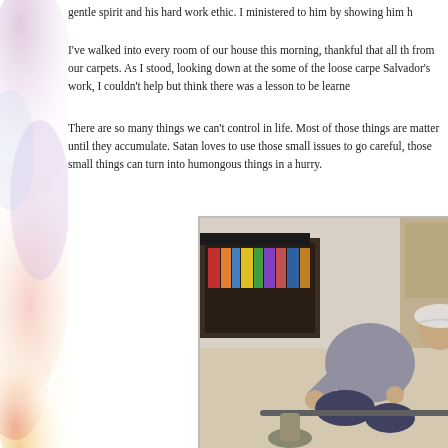gentle spirit and his hard work ethic. I ministered to him by showing him h
I've walked into every room of our house this morning, thankful that all th from our carpets. As I stood, looking down at the some of the loose carpe Salvador's work, I couldn't help but think there was a lesson to be learned
There are so many things we can't control in life. Most of those things are matter until they accumulate. Satan loves to use those small issues to go careful, those small things can turn into humongous things in a hurry.
[Figure (photo): A man in a gray t-shirt and white baseball cap kneeling on the floor, working on carpet installation with tools, in a living room with a bookshelf and fireplace in the background.]